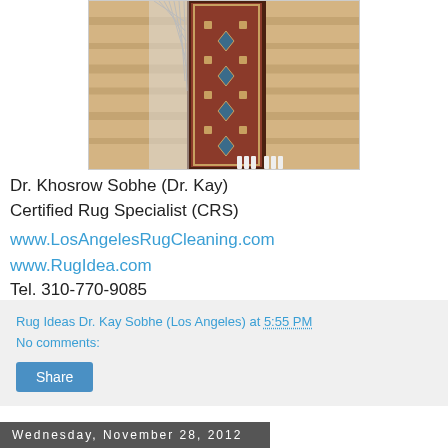[Figure (photo): A narrow Persian runner rug with geometric medallion patterns in red/brown tones displayed on a light wood floor, with fringe visible on the left side.]
Dr. Khosrow Sobhe (Dr. Kay)
Certified Rug Specialist (CRS)
www.LosAngelesRugCleaning.com
www.RugIdea.com
Tel. 310-770-9085
Rug Ideas Dr. Kay Sobhe (Los Angeles) at 5:55 PM
No comments:
Share
Wednesday, November 28, 2012